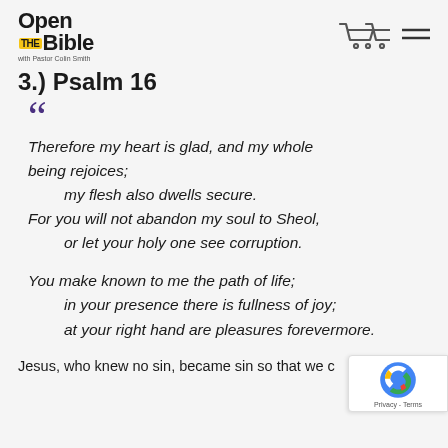Open THE Bible with Pastor Colin Smith
3.) Psalm 16
Therefore my heart is glad, and my whole being rejoices; my flesh also dwells secure. For you will not abandon my soul to Sheol, or let your holy one see corruption. You make known to me the path of life; in your presence there is fullness of joy; at your right hand are pleasures forevermore.
Jesus, who knew no sin, became sin so that we c...